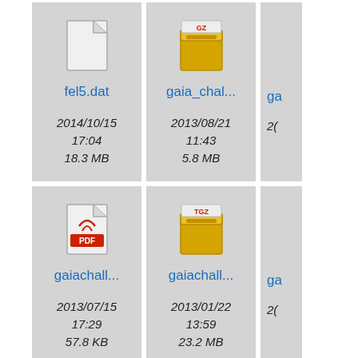[Figure (screenshot): File browser grid view showing file icons with names, dates, and sizes. Row 1: fel5.dat (2014/10/15 17:04, 18.3 MB), gaia_chal... (2013/08/21 11:43, 5.8 MB), partial third entry. Row 2: gaiachall... PDF (2013/07/15 17:29, 57.8 KB), gaiachall... TGZ (2013/01/22 13:59, 23.2 MB), partial third entry. Row 3: partial entries at bottom.]